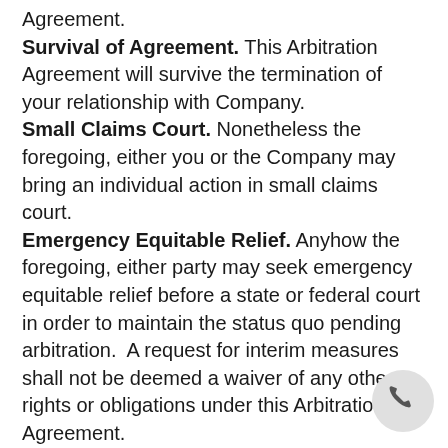Agreement.
Survival of Agreement. This Arbitration Agreement will survive the termination of your relationship with Company.
Small Claims Court. Nonetheless the foregoing, either you or the Company may bring an individual action in small claims court.
Emergency Equitable Relief. Anyhow the foregoing, either party may seek emergency equitable relief before a state or federal court in order to maintain the status quo pending arbitration.  A request for interim measures shall not be deemed a waiver of any other rights or obligations under this Arbitration Agreement.
Claims Not Subject to Arbitration. Notwithstanding the foregoing, claims of defamation, violation of the Computer Fraud and Abuse Act, and infringement or misappropriation of the other party's patent, copyright, trademark or trade secrets shall not be subject to this Arbitration Agreement. In any circumstances where the foregoing Arbitration Agreement permits the parties to litigate in court, the parties